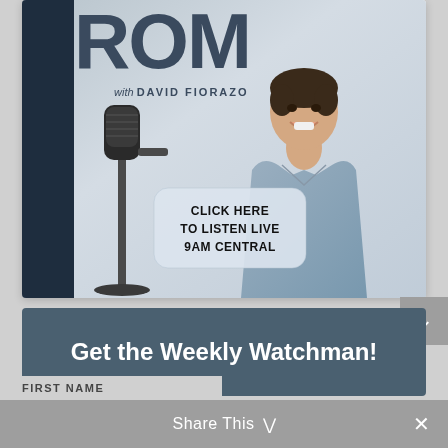[Figure (photo): Radio or podcast show banner image: partial large text 'ROM' with 'with DAVID FIORAZO' below it, a smiling man in a light blue shirt, a microphone stand in the foreground, and a rounded badge overlay reading 'CLICK HERE TO LISTEN LIVE 9AM CENTRAL'. Dark sidebar on the left.]
Get the Weekly Watchman!
Share This
FIRST NAME